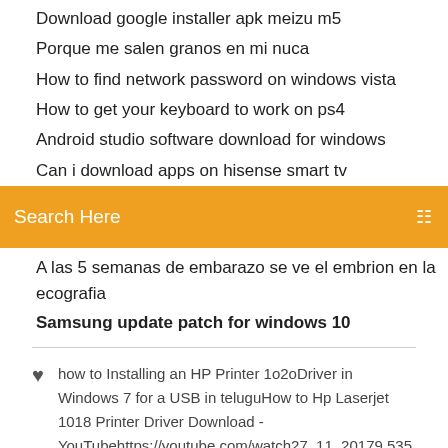Download google installer apk meizu m5
Porque me salen granos en mi nuca
How to find network password on windows vista
How to get your keyboard to work on ps4
Android studio software download for windows
Can i download apps on hisense smart tv
Search Here
A las 5 semanas de embarazo se ve el embrion en la ecografia
Samsung update patch for windows 10
how to Installing an HP Printer 1o2oDriver in Windows 7 for a USB in teluguHow to Hp Laserjet 1018 Printer Driver Download - YouTubehttps://youtube.com/watch27. 11. 20179 535 zhlédnutíHp Laserjet 1018 Driver DownloadHP LaserJet 1018 Drivers Download for Windows 10, 8.1, 7, Vista, XP https://yout.../JN6AIcncV00 HP